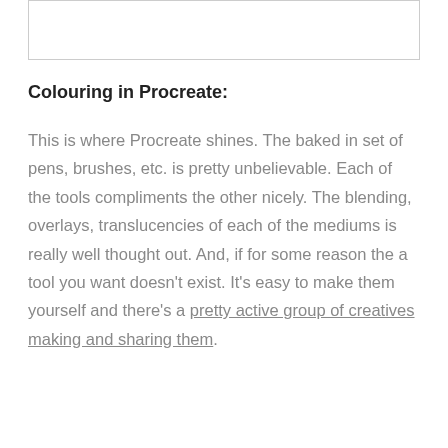[Figure (other): Empty white box with border, likely an image placeholder]
Colouring in Procreate:
This is where Procreate shines. The baked in set of pens, brushes, etc. is pretty unbelievable. Each of the tools compliments the other nicely. The blending, overlays, translucencies of each of the mediums is really well thought out. And, if for some reason the a tool you want doesn’t exist. It’s easy to make them yourself and there’s a pretty active group of creatives making and sharing them.